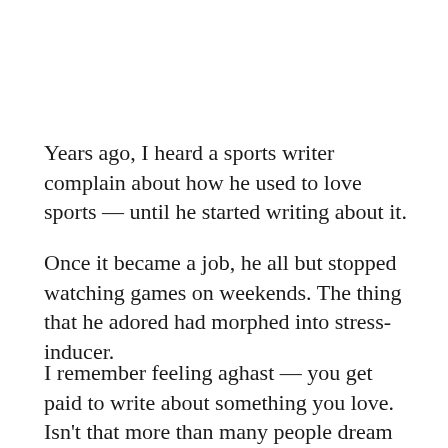Years ago, I heard a sports writer complain about how he used to love sports — until he started writing about it.
Once it became a job, he all but stopped watching games on weekends. The thing that he adored had morphed into stress-inducer.
I remember feeling aghast — you get paid to write about something you love. Isn't that more than many people dream of?